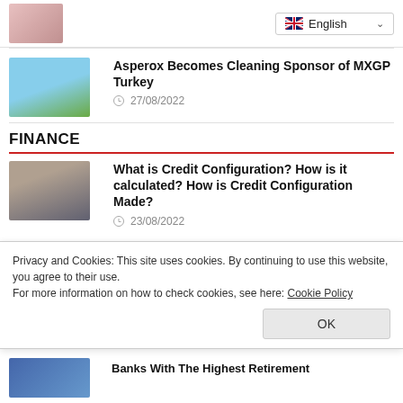[Figure (photo): Top partial photo of a person]
English (language selector dropdown)
[Figure (photo): Motocross riders in action with a large yellow feather/flag]
Asperox Becomes Cleaning Sponsor of MXGP Turkey
27/08/2022
FINANCE
[Figure (photo): Person using a calculator at a desk]
What is Credit Configuration? How is it calculated? How is Credit Configuration Made?
23/08/2022
Privacy and Cookies: This site uses cookies. By continuing to use this website, you agree to their use.
For more information on how to check cookies, see here: Cookie Policy
[Figure (photo): Banks with retirement/financial imagery, partial view]